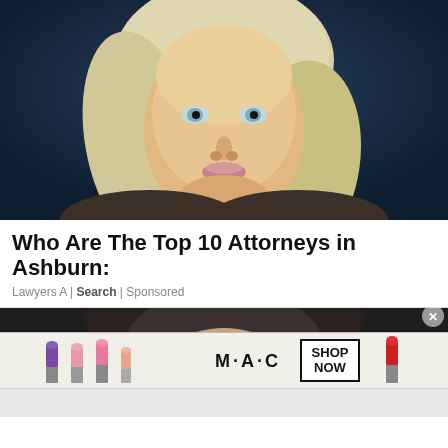[Figure (photo): Close-up portrait of a blonde woman with blue eyes against a dark blue background]
Who Are The Top 10 Attorneys in Ashburn:
Lawyers A | Search | Sponsored
[Figure (photo): Partial view of a dark-haired woman's face, advertisement below with MAC cosmetics lipstick ad showing SHOP NOW button]